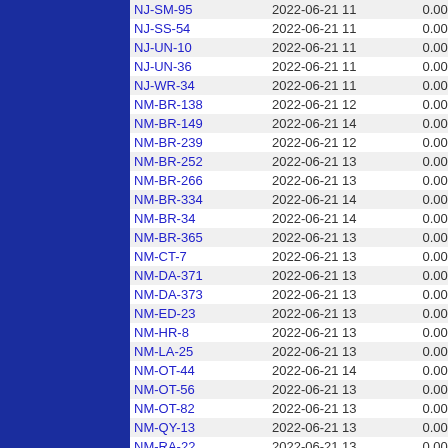| ID | Date | Value1 | Value2 |
| --- | --- | --- | --- |
| NJ-SM-95 | 2022-06-21 11 | 0.000 | 38 |
| NJ-SS-54 | 2022-06-21 11 | 0.000 | 107 |
| NJ-UN-10 | 2022-06-21 11 | 0.000 | 40 |
| NJ-UN-36 | 2022-06-21 11 | 0.000 | 6 |
| NJ-WR-34 | 2022-06-21 11 | 0.000 | 43 |
| NM-BR-138 | 2022-06-21 12 | 0.000 | 544 |
| NM-BR-149 | 2022-06-21 14 | 0.000 | 533 |
| NM-BR-239 | 2022-06-21 12 | 0.000 | 539 |
| NM-BR-252 | 2022-06-21 13 | 0.000 | 497 |
| NM-BR-266 | 2022-06-21 13 | 0.000 | 689 |
| NM-BR-334 | 2022-06-21 14 | 0.000 | 549 |
| NM-BR-34 | 2022-06-21 14 | 0.000 | 548 |
| NM-BR-365 | 2022-06-21 13 | 0.000 | 591 |
| NM-CT-7 | 2022-06-21 13 | 0.000 | 757 |
| NM-DA-371 | 2022-06-21 13 | 0.000 | 430 |
| NM-DA-373 | 2022-06-21 13 | 0.000 | 458 |
| NM-ED-23 | 2022-06-21 13 | 0.000 | 315 |
| NM-HR-8 | 2022-06-21 13 | 0.000 | 535 |
| NM-LA-25 | 2022-06-21 13 | 0.000 | 633 |
| NM-OT-44 | 2022-06-21 14 | 0.000 | 607 |
| NM-OT-56 | 2022-06-21 13 | 0.000 | 868 |
| NM-OT-82 | 2022-06-21 13 | 0.000 | 919 |
| NM-QY-13 | 2022-06-21 13 | 0.000 | 385 |
| NM-RA-22 | 2022-06-21 13 | 0.000 | 643 |
| NM-SF-101 | 2022-06-21 13 | 0.000 | 732 |
| NM-SF-102 | 2022-06-21 13 | 0.000 | 623 |
| NM-SF-115 | 2022-06-21 13 | 0.000 | 696 |
| NM-SF-14 | 2022-06-21 13 | 0.000 | 676 |